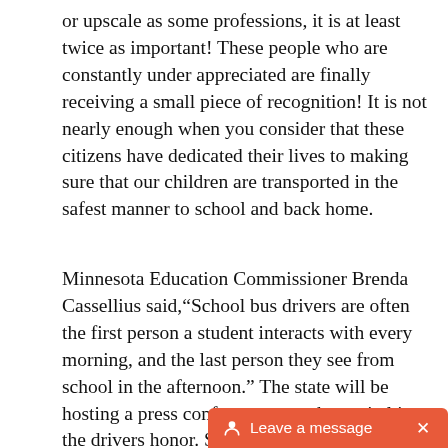or upscale as some professions, it is at least twice as important! These people who are constantly under appreciated are finally receiving a small piece of recognition! It is not nearly enough when you consider that these citizens have dedicated their lives to making sure that our children are transported in the safest manner to school and back home.
Minnesota Education Commissioner Brenda Cassellius said,“School bus drivers are often the first person a student interacts with every morning, and the last person they see from school in the afternoon.” The state will be hosting a press conference near the capital in the drivers honor. Several driver’s will be in attendance! Students are encouraged to send cards to their drivers to express their appreciation.
[Figure (other): Chat widget button with orange-red background showing a person/message icon and text 'Leave a message' with an X close button]